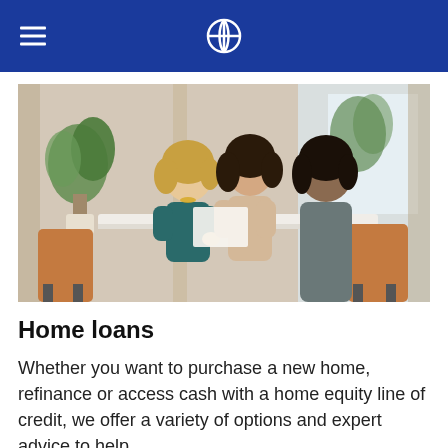Chase navigation header with hamburger menu and Chase logo
[Figure (photo): Three women sitting around a table in a bright office setting, reviewing documents together. Plants and windows visible in the background.]
Home loans
Whether you want to purchase a new home, refinance or access cash with a home equity line of credit, we offer a variety of options and expert advice to help